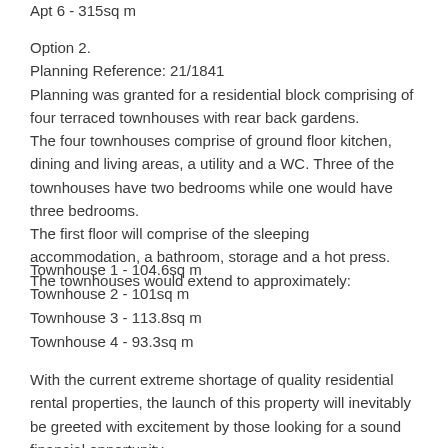Apt 6 - 315sq m
Option 2.
Planning Reference: 21/1841
Planning was granted for a residential block comprising of four terraced townhouses with rear back gardens.
The four townhouses comprise of ground floor kitchen, dining and living areas, a utility and a WC. Three of the townhouses have two bedrooms while one would have three bedrooms.
The first floor will comprise of the sleeping accommodation, a bathroom, storage and a hot press.
The townhouses would extend to approximately:
Townhouse 1 - 104.6sq m
Townhouse 2 - 101sq m
Townhouse 3 - 113.8sq m
Townhouse 4 - 93.3sq m
With the current extreme shortage of quality residential rental properties, the launch of this property will inevitably be greeted with excitement by those looking for a sound financial opportunity.
The property will be sold as one lot.